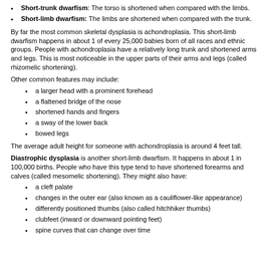Short-trunk dwarfism: The torso is shortened when compared with the limbs.
Short-limb dwarfism: The limbs are shortened when compared with the trunk.
By far the most common skeletal dysplasia is achondroplasia. This short-limb dwarfism happens in about 1 of every 25,000 babies born of all races and ethnic groups. People with achondroplasia have a relatively long trunk and shortened arms and legs. This is most noticeable in the upper parts of their arms and legs (called rhizomelic shortening).
Other common features may include:
a larger head with a prominent forehead
a flattened bridge of the nose
shortened hands and fingers
a sway of the lower back
bowed legs
The average adult height for someone with achondroplasia is around 4 feet tall.
Diastrophic dysplasia is another short-limb dwarfism. It happens in about 1 in 100,000 births. People who have this type tend to have shortened forearms and calves (called mesomelic shortening). They might also have:
a cleft palate
changes in the outer ear (also known as a cauliflower-like appearance)
differently positioned thumbs (also called hitchhiker thumbs)
clubfeet (inward or downward pointing feet)
spine curves that can change over time